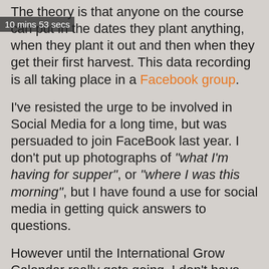10 mins 53 secs
The theory is that anyone on the course can put in the dates they plant anything, when they plant it out and then when they get their first harvest. This data recording is all taking place in a Facebook group.
I've resisted the urge to be involved in Social Media for a long time, but was persuaded to join FaceBook last year. I don't put up photographs of "what I'm having for supper", or "where I was this morning", but I have found a use for social media in getting quick answers to questions.
However until the International Grow Calendar really gets going, I don't have anyone withing 1,000 kilometers of where I am. So the experience of my closest co-writer in Milan planting Courgettes, is not a great deal of use.
But what I have discovered over the past few months is the huge amount of specialist knowledge that is available if you choose your groups wisely. Take this photograph for